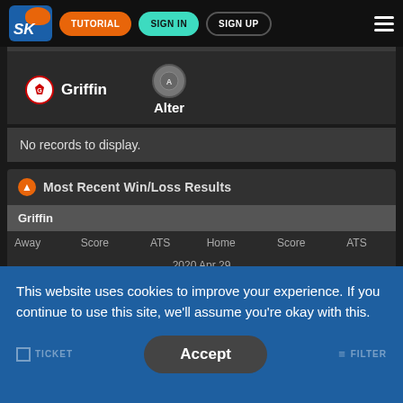TUTORIAL | SIGN IN | SIGN UP
Griffin | Alter
No records to display.
Most Recent Win/Loss Results
| Away | Score | ATS | Home | Score | ATS |
| --- | --- | --- | --- | --- | --- |
| 2020 Apr 29 |
This website uses cookies to improve your experience. If you continue to use this site, we'll assume you're okay with this.
Accept